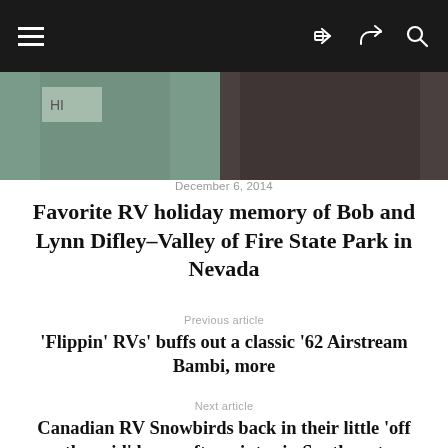Navigation bar with hamburger menu, share icon, and search icon
[Figure (photo): Partial photo showing two people, cropped at top]
December 6, 2014
Favorite RV holiday memory of Bob and Lynn Difley–Valley of Fire State Park in Nevada
Previous article
‘Flippin’ RVs’ buffs out a classic ’62 Airstream Bambi, more
Next article
Canadian RV Snowbirds back in their little ‘off the grid’ home after winter in Southwest